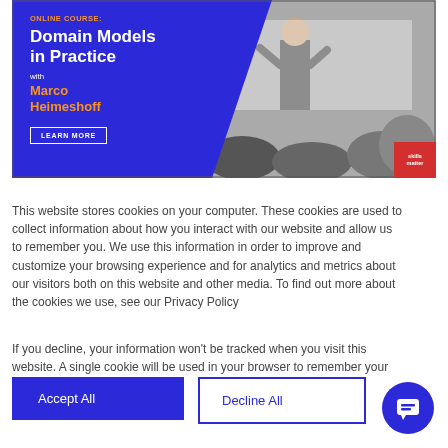[Figure (photo): Online course banner with blue background on left showing course title 'Domain Models in Practice' with instructor Marco Heimeshoff, and a lecture hall photo on the right with a presenter speaking to an audience]
This website stores cookies on your computer. These cookies are used to collect information about how you interact with our website and allow us to remember you. We use this information in order to improve and customize your browsing experience and for analytics and metrics about our visitors both on this website and other media. To find out more about the cookies we use, see our Privacy Policy
If you decline, your information won't be tracked when you visit this website. A single cookie will be used in your browser to remember your preference not to be tracked.